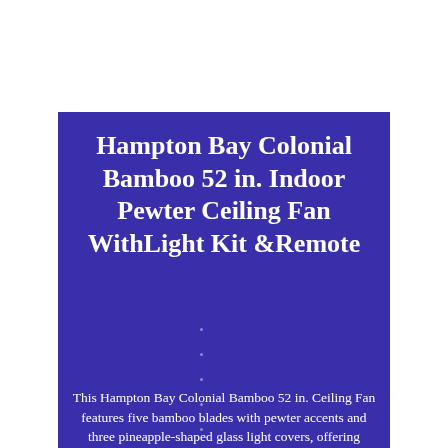Hampton Bay Colonial Bamboo 52 in. Indoor Pewter Ceiling Fan WithLight Kit &Remote
This Hampton Bay Colonial Bamboo 52 in. Ceiling Fan features five bamboo blades with pewter accents and three pineapple-shaped glass light covers, offering tropical flair for indoor spaces. A hand-held remote controls the fan speed and lights.